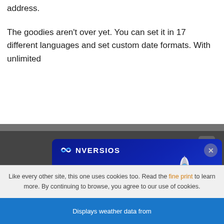address.
The goodies aren’t over yet. You can set it in 17 different languages and set custom date formats. With unlimited
[Figure (screenshot): CONVERSIOS advertisement banner with dark blue gradient background. Shows logo 'CONVERSIOS' with infinity symbol, headline 'Setup Google Analytics & Google Ads to Scale Faster', a 'Try Now >>' button, and an illustration of a computer monitor displaying Google Analytics and Google Ads icons with a rocket launching from it.]
information, it’s OpenWeatherMap.org.
Like every other site, this one uses cookies too. Read the fine print to learn more. By continuing to browse, you agree to our use of cookies.
Displays weather data from